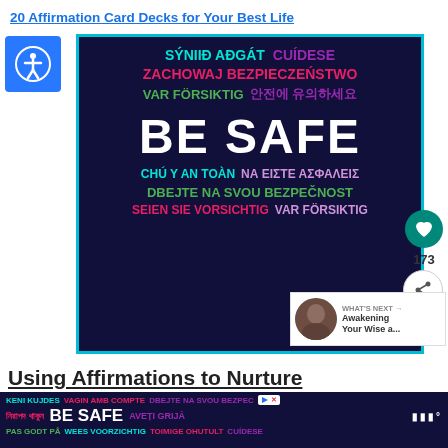20 Affirmation Card Decks for Your Best Life
[Figure (infographic): Dark navy blue card with multilingual 'BE SAFE' affirmations in various colors including teal, purple, green, pink. Center text reads 'BE SAFE' in large white bold font. Other languages shown: SÝNIÐ AÐGÁT, CUÍDESE, ZACHOWAJ BEZPIECZEŃSTWO, VAR FÖRSIKTIG, 안전에 유의하세요, CHÚ Ý AN TOÀN, ΝΑ ΕΙΣΤΕ ΑΣΦΑΛΕΙΣ, DBEJTE NA SVOU BEZPEČNOST, SEIEN SIE VORSICHTIG]
173
WHAT'S NEXT → Awakening Your Wise a...
Using Affirmations to Nurture
[Figure (infographic): Ad banner: Dark navy background with multilingual BE SAFE affirmations. Shows: KENI KUJDES, VAGIN AMB COMPTE, DBEJTE NA SVOU BEZPEC..., নিরাপদ থাকুন, BE SAFE, AVEȚI GRIJĂ, PAS GODT PÅ, WEES VOORZICHTIG, TOIMIGE OHUTULT, CUÍDESE. Ad badge and logo visible.]